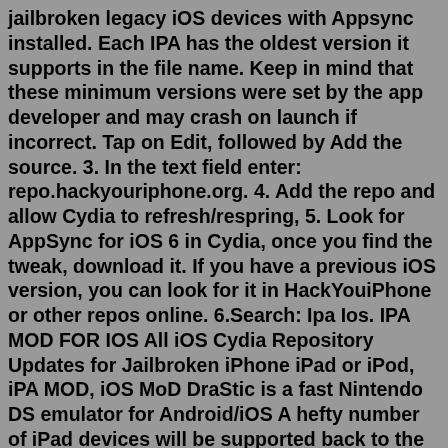jailbroken legacy iOS devices with Appsync installed. Each IPA has the oldest version it supports in the file name. Keep in mind that these minimum versions were set by the app developer and may crash on launch if incorrect. Tap on Edit, followed by Add the source. 3. In the text field enter: repo.hackyouriphone.org. 4. Add the repo and allow Cydia to refresh/respring, 5. Look for AppSync for iOS 6 in Cydia, once you find the tweak, download it. If you have a previous iOS version, you can look for it in HackYouiPhone or other repos online. 6.Search: Ipa Ios. IPA MOD FOR IOS All iOS Cydia Repository Updates for Jailbroken iPhone iPad or iPod, iPA MOD, iOS MoD DraStic is a fast Nintendo DS emulator for Android/iOS A hefty number of iPad devices will be supported back to the iPad Air 2, which was released in iPABox For iOS Devices Posted By: Mod4Games 0 Comment Crunchyroll++, Crunchyroll++ hacked app for ios/apple, Crunchyroll++ mod ...Have the tweaks AppSync Unified, ministra and IPAPatched Bownloaded